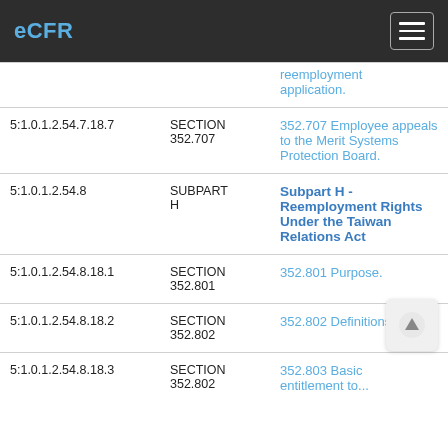eCFR
| ID | Type | Title |
| --- | --- | --- |
|  |  | reemployment application. |
| 5:1.0.1.2.54.7.18.7 | SECTION 352.707 | 352.707 Employee appeals to the Merit Systems Protection Board. |
| 5:1.0.1.2.54.8 | SUBPART H | Subpart H - Reemployment Rights Under the Taiwan Relations Act |
| 5:1.0.1.2.54.8.18.1 | SECTION 352.801 | 352.801 Purpose. |
| 5:1.0.1.2.54.8.18.2 | SECTION 352.802 | 352.802 Definitions. |
| 5:1.0.1.2.54.8.18.3 | SECTION 352.803 | 352.803 Basic entitlement to... |